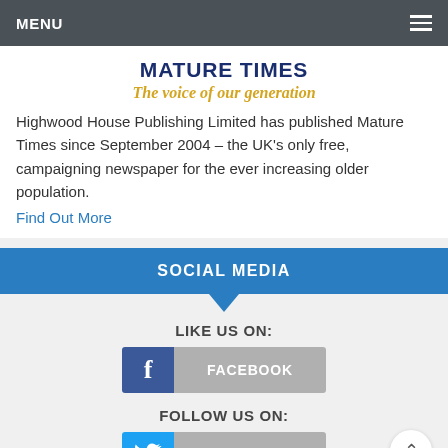MENU
MATURE TIMES
The voice of our generation
Highwood House Publishing Limited has published Mature Times since September 2004 – the UK's only free, campaigning newspaper for the ever increasing older population.
Find Out More
SOCIAL MEDIA
LIKE US ON:
[Figure (logo): Facebook button with 'f' icon and FACEBOOK label]
FOLLOW US ON:
[Figure (logo): Twitter button with bird icon and TWITTER label]